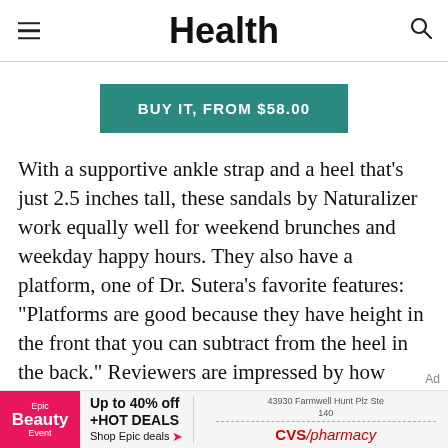Health
BUY IT, FROM $58.00
With a supportive ankle strap and a heel that's just 2.5 inches tall, these sandals by Naturalizer work equally well for weekend brunches and weekday happy hours. They also have a platform, one of Dr. Sutera's favorite features: "Platforms are good because they have height in the front that you can subtract from the heel in the back." Reviewers are impressed by how
Epic Beauty Event — Up to 40% off +HOT DEALS Shop Epic deals | 43930 Farmwell Hunt Plz Ste 140 CVS/pharmacy